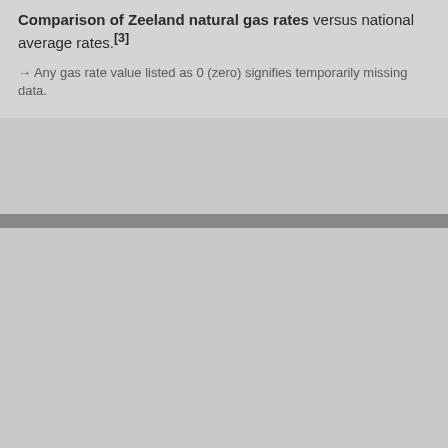Comparison of Zeeland natural gas rates versus national average rates.[3]
→ Any gas rate value listed as 0 (zero) signifies temporarily missing data.